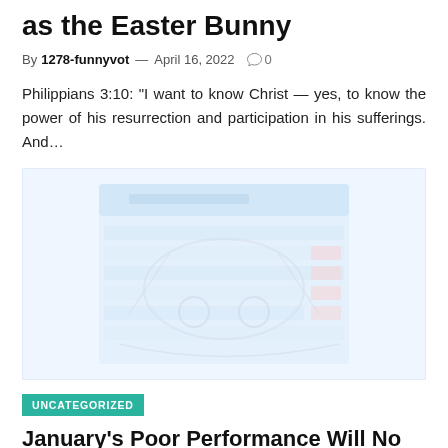as the Easter Bunny
By 1278-funnyvot — April 16, 2022   0
Philippians 3:10: “I want to know Christ—yes, to know the power of his resurrection and participation in his sufferings. And…
[Figure (illustration): A blurred/faded image placeholder showing a stylized spreadsheet or calendar with a car graphic overlay, light blue and pink colors]
UNCATEGORIZED
January’s Poor Performance Will No